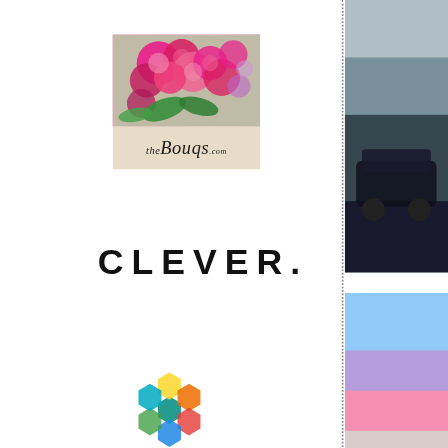[Figure (logo): The Bouqs .com logo with pink roses on burlap background]
[Figure (logo): CLEVER. brand logo in bold uppercase sans-serif]
[Figure (logo): Pollinate logo with colorful hexagonal flower cluster]
[Figure (photo): Dark photo (partial, right side) showing dark vehicle or machinery]
[Figure (photo): Nature/landscape photo (partial, right side) with blue sky and pink tones]